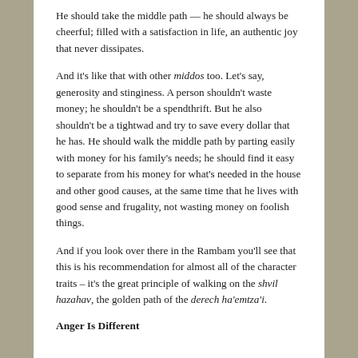He should take the middle path — he should always be cheerful; filled with a satisfaction in life, an authentic joy that never dissipates.
And it's like that with other middos too. Let's say, generosity and stinginess. A person shouldn't waste money; he shouldn't be a spendthrift. But he also shouldn't be a tightwad and try to save every dollar that he has. He should walk the middle path by parting easily with money for his family's needs; he should find it easy to separate from his money for what's needed in the house and other good causes, at the same time that he lives with good sense and frugality, not wasting money on foolish things.
And if you look over there in the Rambam you'll see that this is his recommendation for almost all of the character traits – it's the great principle of walking on the shvil hazahav, the golden path of the derech ha'emtza'i.
Anger Is Different